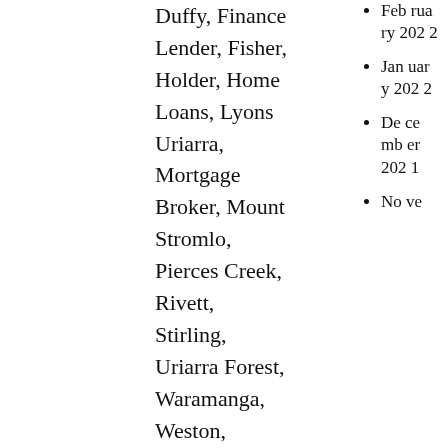Duffy, Finance Lender, Fisher, Holder, Home Loans, Lyons Uriarra, Mortgage Broker, Mount Stromlo, Pierces Creek, Rivett, Stirling, Uriarra Forest, Waramanga, Weston, Weston Creek, Wright  Leave a Comment
Get a Loan Modification Done With The Following
February 2022
January 2022
December 2021
November